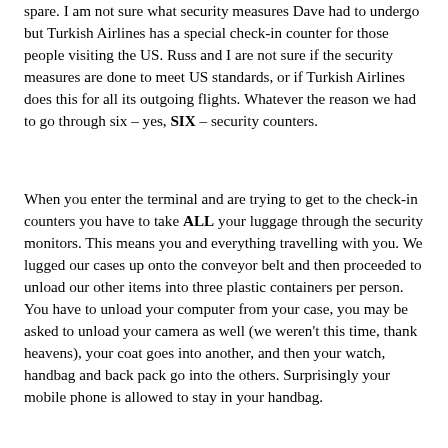spare. I am not sure what security measures Dave had to undergo but Turkish Airlines has a special check-in counter for those people visiting the US. Russ and I are not sure if the security measures are done to meet US standards, or if Turkish Airlines does this for all its outgoing flights. Whatever the reason we had to go through six – yes, SIX – security counters.
When you enter the terminal and are trying to get to the check-in counters you have to take ALL your luggage through the security monitors. This means you and everything travelling with you. We lugged our cases up onto the conveyor belt and then proceeded to unload our other items into three plastic containers per person. You have to unload your computer from your case, you may be asked to unload your camera as well (we weren't this time, thank heavens), your coat goes into another, and then your watch, handbag and back pack go into the others. Surprisingly your mobile phone is allowed to stay in your handbag.